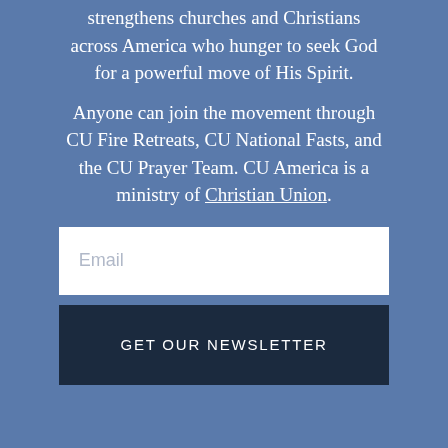strengthens churches and Christians across America who hunger to seek God for a powerful move of His Spirit.
Anyone can join the movement through CU Fire Retreats, CU National Fasts, and the CU Prayer Team. CU America is a ministry of Christian Union.
Email
GET OUR NEWSLETTER